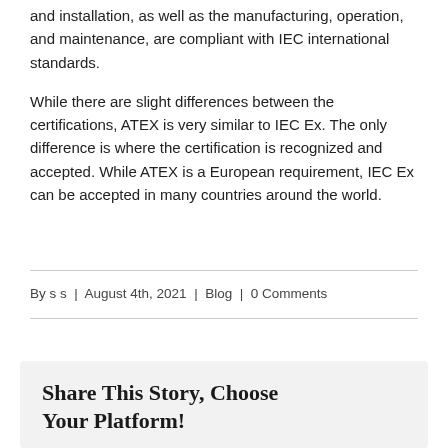and installation, as well as the manufacturing, operation, and maintenance, are compliant with IEC international standards.
While there are slight differences between the certifications, ATEX is very similar to IEC Ex. The only difference is where the certification is recognized and accepted. While ATEX is a European requirement, IEC Ex can be accepted in many countries around the world.
By s s | August 4th, 2021 | Blog | 0 Comments
Share This Story, Choose Your Platform!